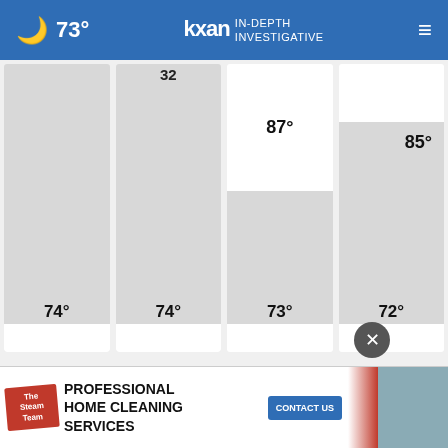73° kxan IN-DEPTH INVESTIGATIVE
[Figure (screenshot): Weather forecast cards showing temperatures: 74°, 74°/32°, 87°/73°, 85°/72°]
Current 73°  Tonight 74°  Tomorrow 92°
[Figure (screenshot): Advertisement: The Steam Team - Professional Home Cleaning Services - Contact Us]